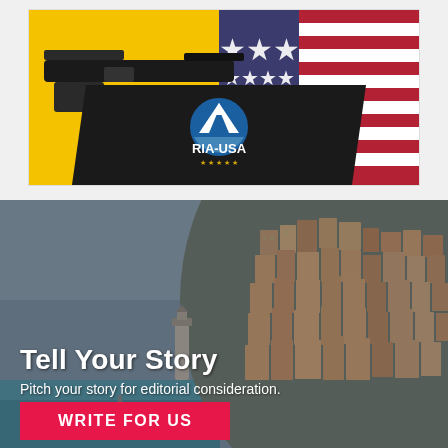[Figure (photo): Advertisement banner for RIA-USA showing a firearm on a yellow background with an American flag and the RIA-USA mountain logo on a black diagonal banner]
[Figure (photo): Scenic photo of a coastal Italian hillside town (resembling Positano) with colorful buildings on a cliff overlooking the sea, overlaid with dark tint]
Tell Your Story
Pitch your story for editorial consideration.
WRITE FOR US